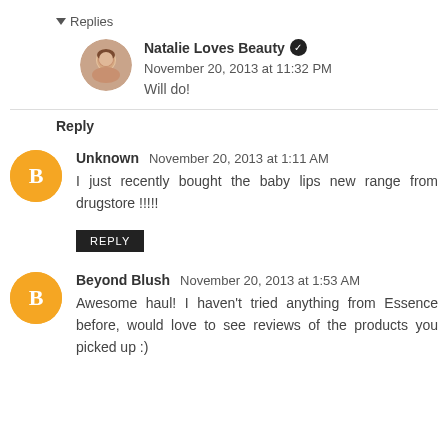▾ Replies
Natalie Loves Beauty ✔ November 20, 2013 at 11:32 PM
Will do!
Reply
Unknown  November 20, 2013 at 1:11 AM
I just recently bought the baby lips new range from drugstore !!!!!
REPLY
Beyond Blush  November 20, 2013 at 1:53 AM
Awesome haul! I haven't tried anything from Essence before, would love to see reviews of the products you picked up :)